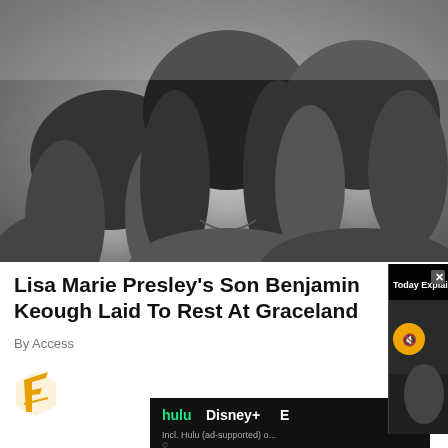[Figure (photo): Black and white photo of three people: a woman on the left, a smiling woman in the center, and a man on the right]
Lisa Marie Presley's Son Benjamin Keough Laid To Rest At Graceland
By Access
[Figure (logo): Fender-style yellow/orange logo icon]
[Figure (screenshot): Popup video overlay titled 'Today Explained: Inflation Relief for So...' with a close X button and muted video showing a person with hair being cut]
[Figure (screenshot): Ad banner showing Hulu, Disney+, ESPN logos with text 'Incl. Hulu (ad-supported) o...']